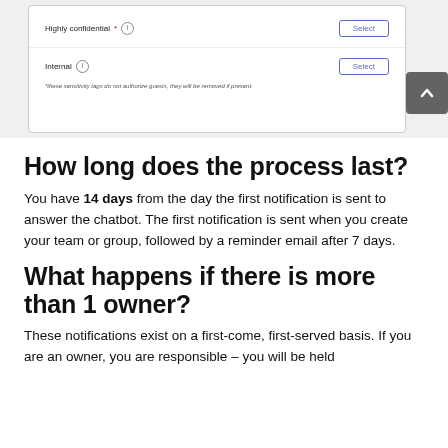[Figure (screenshot): UI screenshot showing two form fields: 'Highly confidential' with an info icon, a Select button, and 'Internal' with an info icon and a Select button. A footnote reads: '*these sensitivity tags do not authorize guests, they will be removed if present.' A dark grey up-arrow button appears on the right side.]
How long does the process last?
You have 14 days from the day the first notification is sent to answer the chatbot. The first notification is sent when you create your team or group, followed by a reminder email after 7 days.
What happens if there is more than 1 owner?
These notifications exist on a first-come, first-served basis. If you are an owner, you are responsible – you will be held...